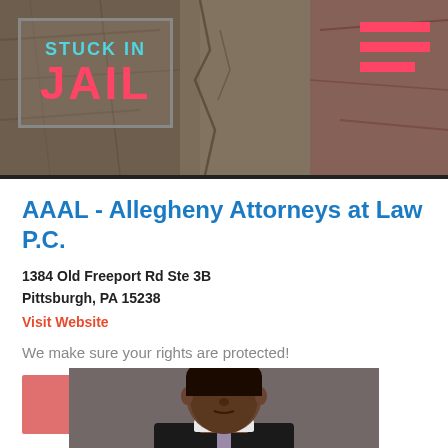STUCK IN JAIL
AAAL - Allegheny Attorneys at Law P.C.
1384 Old Freeport Rd Ste 3B
Pittsburgh, PA 15238
Visit Website
We make sure your rights are protected!
(412) 963-8495
[Figure (photo): Professional headshot of a man in a dark suit and tie against a gray background]